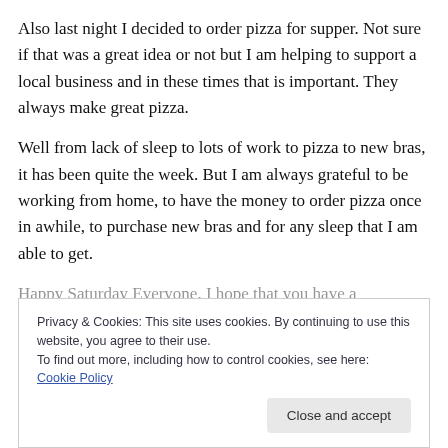Also last night I decided to order pizza for supper. Not sure if that was a great idea or not but I am helping to support a local business and in these times that is important. They always make great pizza.
Well from lack of sleep to lots of work to pizza to new bras, it has been quite the week. But I am always grateful to be working from home, to have the money to order pizza once in awhile, to purchase new bras and for any sleep that I am able to get.
Happy Saturday Everyone, I hope that you have a...
Privacy & Cookies: This site uses cookies. By continuing to use this website, you agree to their use.
To find out more, including how to control cookies, see here: Cookie Policy
Close and accept